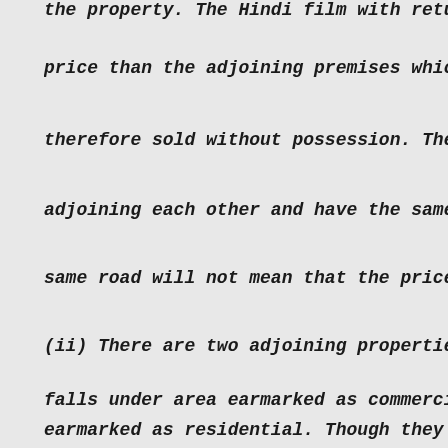the property. The Hindi film with return
price than the adjoining premises which i
therefore sold without possession. The fa
adjoining each other and have the same ar
same road will not mean that the price th
(ii) There are two adjoining properties b
falls under area earmarked as commercial
earmarked as residential. Though they are
is capable of commercial use is likely to